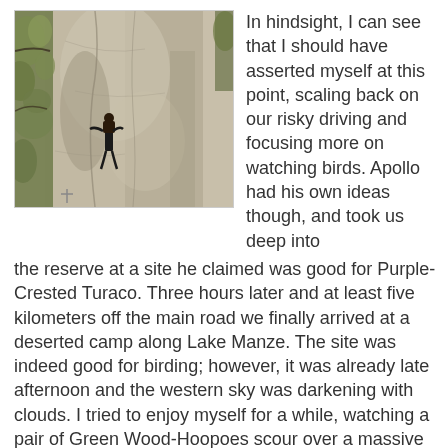[Figure (photo): A person (climber or bird watcher) clinging to the trunk of a large pale-barked Baobab tree, with green leaves visible on the left side. The tree bark has a textured, grey-beige surface.]
In hindsight, I can see that I should have asserted myself at this point, scaling back on our risky driving and focusing more on watching birds. Apollo had his own ideas though, and took us deep into the reserve at a site he claimed was good for Purple-Crested Turaco. Three hours later and at least five kilometers off the main road we finally arrived at a deserted camp along Lake Manze. The site was indeed good for birding; however, it was already late afternoon and the western sky was darkening with clouds. I tried to enjoy myself for a while, watching a pair of Green Wood-Hoopoes scour over a massive Baobab tree, but I had a growing sense of dread. I noted Brown-Breasted Barbet, Chin-Spot Batis, Green-Winged Pytilia, Collared Palm-Thrush, and Village Indigobird